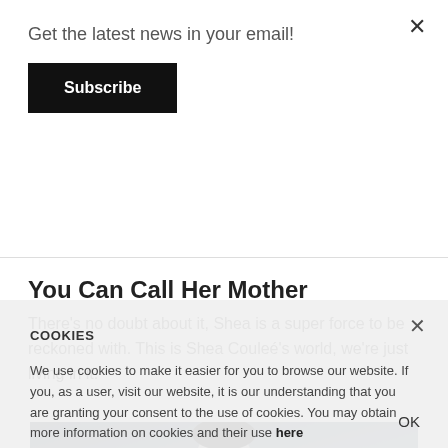Get the latest news in your email!
Subscribe
You Can Call Her Mother
There’s no doubt about it, Shea is a super force to be reckoned with. This is Shea Couleé’s world, we’re just living in it.
[Figure (photo): Photo of a person, partially visible, dark background with bokeh lighting]
COOKIES
We use cookies to make it easier for you to browse our website. If you, as a user, visit our website, it is our understanding that you are granting your consent to the use of cookies. You may obtain more information on cookies and their use here
OK